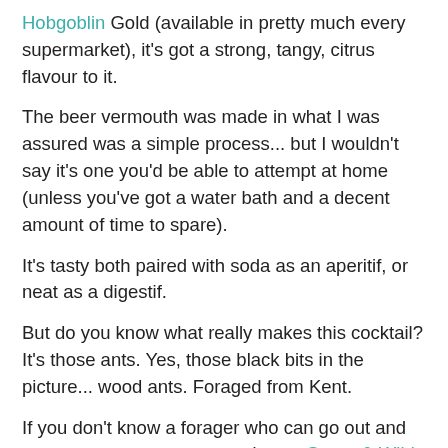Hobgoblin Gold (available in pretty much every supermarket), it's got a strong, tangy, citrus flavour to it.
The beer vermouth was made in what I was assured was a simple process... but I wouldn't say it's one you'd be able to attempt at home (unless you've got a water bath and a decent amount of time to spare).
It's tasty both paired with soda as an aperitif, or neat as a digestif.
But do you know what really makes this cocktail? It's those ants. Yes, those black bits in the picture... wood ants. Foraged from Kent.
If you don't know a forager who can go out and source you some tasty wood ants, Sager & Wilde Paradise Row (about a minute from Bethnal Green station) have put the drink on their menu. What could be better for Halloween?
I was as reluctant as I can imagine you are reading this, but I'm a convert. Wait for the ice to melt a little, catch a critter...